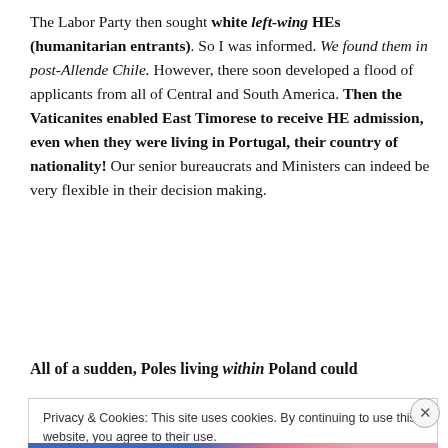The Labor Party then sought white left-wing HEs (humanitarian entrants). So I was informed. We found them in post-Allende Chile. However, there soon developed a flood of applicants from all of Central and South America. Then the Vaticanites enabled East Timorese to receive HE admission, even when they were living in Portugal, their country of nationality! Our senior bureaucrats and Ministers can indeed be very flexible in their decision making.
All of a sudden, Poles living within Poland could
Privacy & Cookies: This site uses cookies. By continuing to use this website, you agree to their use. To find out more, including how to control cookies, see here: Cookie Policy